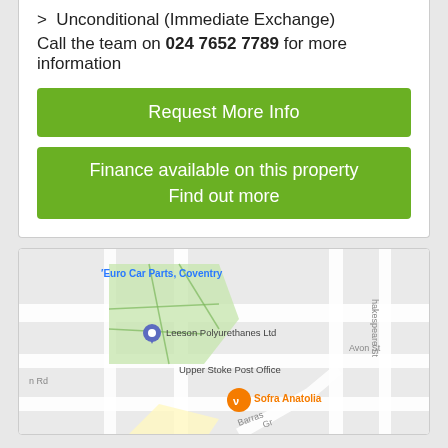> Unconditional (Immediate Exchange)
Call the team on 024 7652 7789 for more information
[Figure (other): Green button: Request More Info]
[Figure (other): Green button: Finance available on this property / Find out more]
[Figure (map): Street map showing area near Upper Stoke Post Office, Leeson Polyurethanes Ltd, Euro Car Parts Coventry, Sofra Anatolia, with streets including Shakespeare St and Avon St]